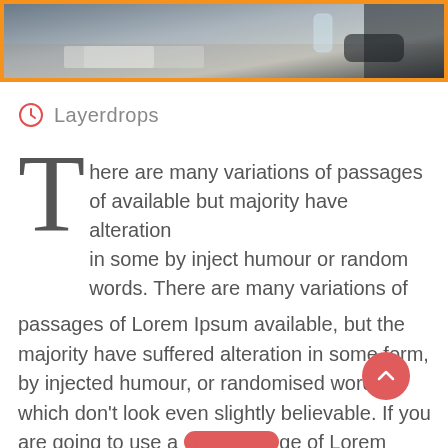[Figure (photo): A cropped photo of a business meeting scene with people at a table, papers and a glass of water visible, dark tones with orange border frame.]
Layerdrops
There are many variations of passages of available but majority have alteration in some by inject humour or random words. There are many variations of passages of Lorem Ipsum available, but the majority have suffered alteration in some form, by injected humour, or randomised words which don’t look even slightly believable. If you are going to use a passage of Lorem Ipsum, you need to be sure there isn’t anything embarrassing hidden in the middle of text